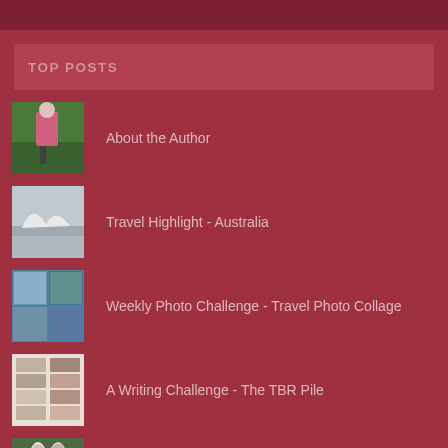TOP POSTS
About the Author
Travel Highlight - Australia
Weekly Photo Challenge - Travel Photo Collage
A Writing Challenge - The TBR Pile
Tenderly Love
Weekly Photo Challenge - It Is Easy Being Green